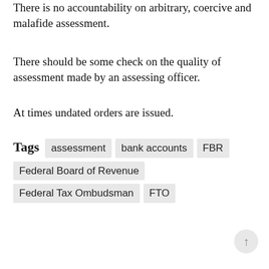There is no accountability on arbitrary, coercive and malafide assessment.
There should be some check on the quality of assessment made by an assessing officer.
At times undated orders are issued.
Tags  assessment  bank accounts  FBR  Federal Board of Revenue  Federal Tax Ombudsman  FTO
[Figure (photo): Portrait photo of a woman wearing sunglasses, shown from the waist up, with an outdoor background, framed in a blue border.]